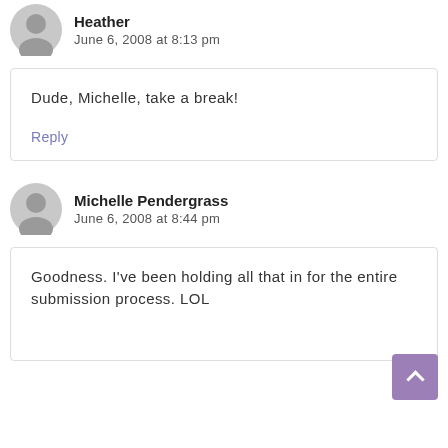Heather
June 6, 2008 at 8:13 pm
Dude, Michelle, take a break!
Reply
Michelle Pendergrass
June 6, 2008 at 8:44 pm
Goodness. I've been holding all that in for the entire submission process. LOL